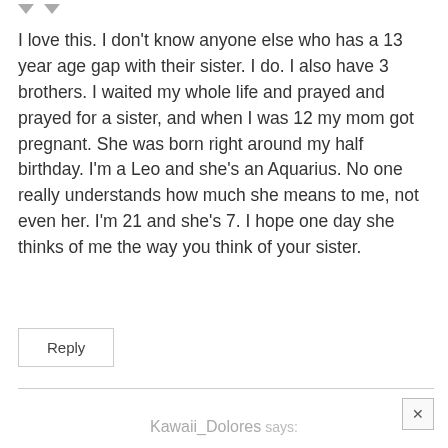I love this. I don't know anyone else who has a 13 year age gap with their sister. I do. I also have 3 brothers. I waited my whole life and prayed and prayed for a sister, and when I was 12 my mom got pregnant. She was born right around my half birthday. I'm a Leo and she's an Aquarius. No one really understands how much she means to me, not even her. I'm 21 and she's 7. I hope one day she thinks of me the way you think of your sister.
Reply
Kawaii_Dolores says: